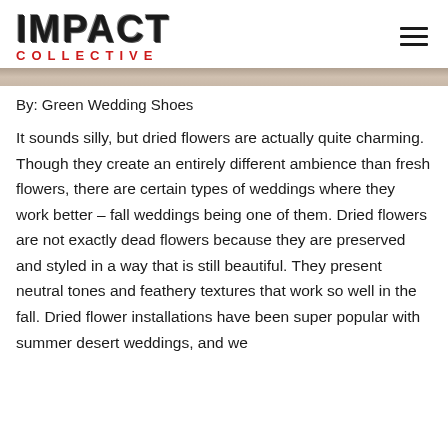IMPACT COLLECTIVE
By: Green Wedding Shoes
It sounds silly, but dried flowers are actually quite charming. Though they create an entirely different ambience than fresh flowers, there are certain types of weddings where they work better – fall weddings being one of them. Dried flowers are not exactly dead flowers because they are preserved and styled in a way that is still beautiful. They present neutral tones and feathery textures that work so well in the fall. Dried flower installations have been super popular with summer desert weddings, and we